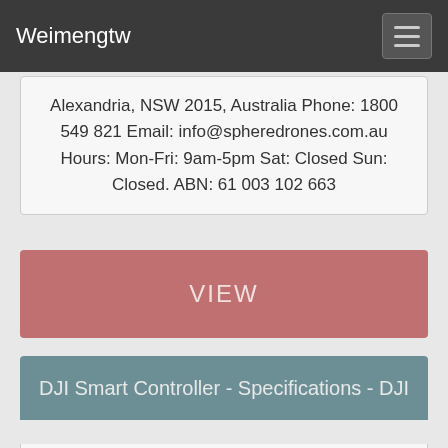Weimengtw
Alexandria, NSW 2015, Australia Phone: 1800 549 821 Email: info@spheredrones.com.au Hours: Mon-Fri: 9am-5pm Sat: Closed Sun: Closed. ABN: 61 003 102 663
VIEW
DJI Smart Controller - Specifications - DJI
DJI Smart Controller -Specs. 1. Local regulations in some countries prohibit the use of the 5.8 GHz and 5.2 GHz frequencies.